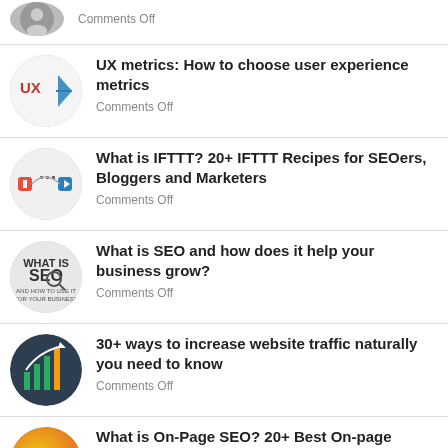Comments Off
UX metrics: How to choose user experience metrics
Comments Off
What is IFTTT? 20+ IFTTT Recipes for SEOers, Bloggers and Marketers
Comments Off
What is SEO and how does it help your business grow?
Comments Off
30+ ways to increase website traffic naturally you need to know
Comments Off
What is On-Page SEO? 20+ Best On-page Optimization Standards
Comments Off
Google Spelling: The secret advantage...